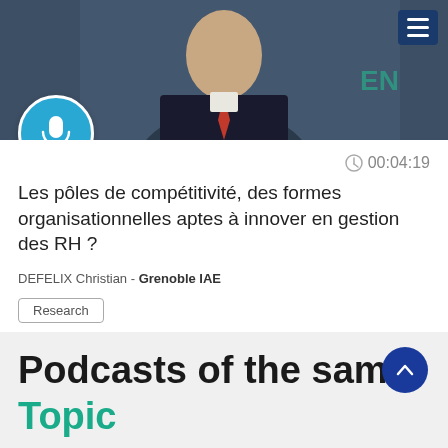[Figure (photo): Screenshot of a podcast card on an educational website. Shows a man in a suit as thumbnail, microphone icon, duration 00:04:19, French podcast title, author DEFELIX Christian from Grenoble IAE, Research tag, French flag, followed by a section heading 'Podcasts of the same Topic']
00:04:19
Les pôles de compétitivité, des formes organisationnelles aptes à innover en gestion des RH ?
DEFELIX Christian - Grenoble IAE
Research
Podcasts of the same Topic